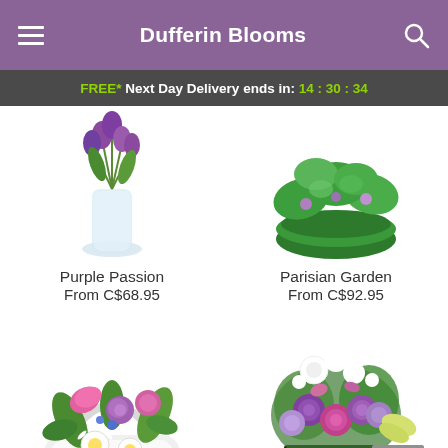Dufferin Blooms
FREE* Next Day Delivery ends in: 14:30:34
[Figure (photo): Purple Passion flower arrangement in a glass vase with purple tulips]
Purple Passion
From C$68.95
[Figure (photo): Parisian Garden arrangement with green plants in a green bowl]
Parisian Garden
From C$92.95
[Figure (photo): Pink and white flower basket arrangement with lilies, roses and daisies]
[Figure (photo): Purple and pink rose bouquet with white flowers in a black vase]